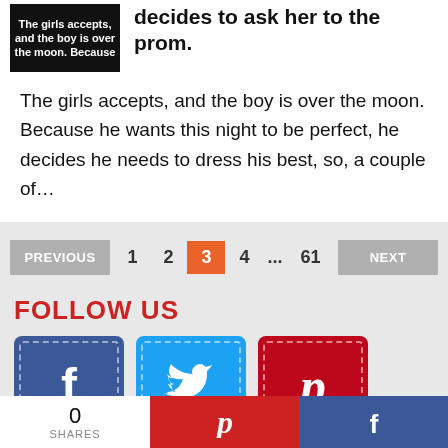[Figure (photo): Small thumbnail image with dark background showing text 'The girls accepts, and the boy is over the moon. Because']
decides to ask her to the prom.
The girls accepts, and the boy is over the moon. Because he wants this night to be perfect, he decides he needs to dress his best, so, a couple of…
PREVIOUS  1  2  3  4  ...  61  NEXT
FOLLOW US
[Figure (logo): Facebook, Twitter, and Pinterest social media icons]
0 SHARES